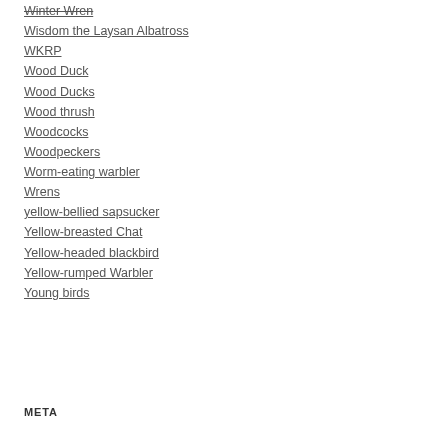Winter Wren
Wisdom the Laysan Albatross
WKRP
Wood Duck
Wood Ducks
Wood thrush
Woodcocks
Woodpeckers
Worm-eating warbler
Wrens
yellow-bellied sapsucker
Yellow-breasted Chat
Yellow-headed blackbird
Yellow-rumped Warbler
Young birds
META